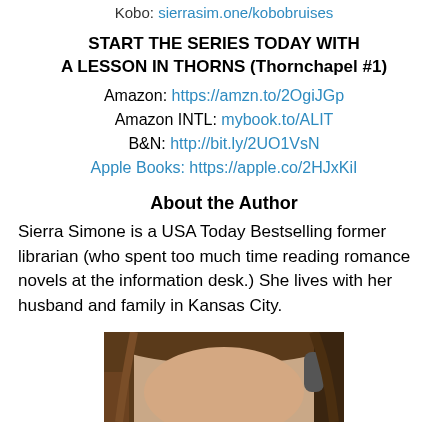Kobo: sierrasim.one/kobobruises
START THE SERIES TODAY WITH
A LESSON IN THORNS (Thornchapel #1)
Amazon: https://amzn.to/2OgiJGp
Amazon INTL: mybook.to/ALIT
B&N: http://bit.ly/2UO1VsN
Apple Books: https://apple.co/2HJxKiI
About the Author
Sierra Simone is a USA Today Bestselling former librarian (who spent too much time reading romance novels at the information desk.) She lives with her husband and family in Kansas City.
[Figure (photo): Photo of author Sierra Simone, showing top portion of a woman with brown hair]